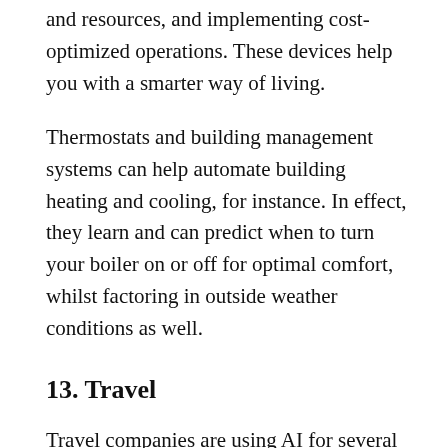and resources, and implementing cost-optimized operations. These devices help you with a smarter way of living.
Thermostats and building management systems can help automate building heating and cooling, for instance. In effect, they learn and can predict when to turn your boiler on or off for optimal comfort, whilst factoring in outside weather conditions as well.
13. Travel
Travel companies are using AI for several tasks. Apart from enhancing their customer support (which we've already discussed), they are also using AI tools